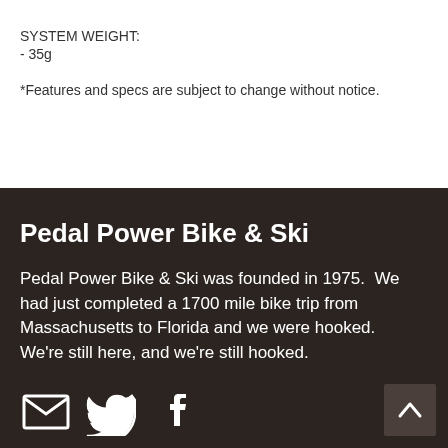SYSTEM WEIGHT:
- 35g
*Features and specs are subject to change without notice.
Pedal Power Bike & Ski
Pedal Power Bike & Ski was founded in 1975.  We had just completed a 1700 mile bike trip from Massachusetts to Florida and we were hooked.  We're still here, and we're still hooked.
[Figure (infographic): Social media icons: email envelope, Twitter bird, Facebook logo; and a scroll-to-top arrow button in bottom right]